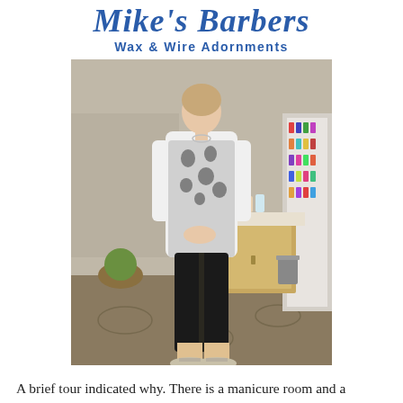Mike's Barbers Wax & Wire Adornments
[Figure (photo): A woman standing in a nail salon, wearing a black and white floral patterned top over black cropped leggings and silver wedge sandals. Behind her are shelves of nail polish bottles and salon furniture.]
A brief tour indicated why. There is a manicure room and a separate pedicure room. The salon has several talented hair stylists and a designated coloring area. As